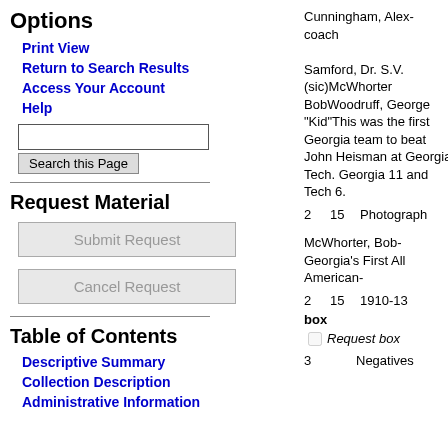Options
Print View
Return to Search Results
Access Your Account
Help
Request Material
Submit Request
Cancel Request
Table of Contents
Descriptive Summary
Collection Description
Administrative Information
Cunningham, Alex- coach Samford, Dr. S.V. (sic)McWhorter BobWoodruff, George "Kid"This was the first Georgia team to beat John Heisman at Georgia Tech. Georgia 11 and Tech 6.
2   15   Photograph
McWhorter, Bob-Georgia's First All American-
2   15   1910-13
box
Request box
3        Negatives